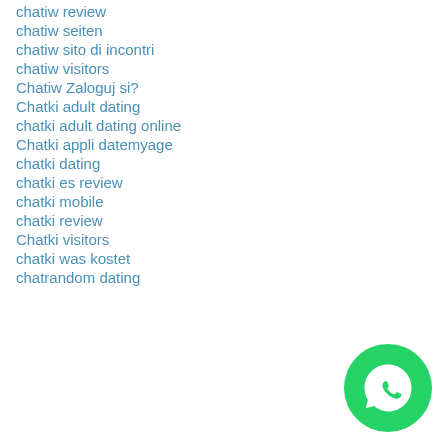chatiw review
chatiw seiten
chatiw sito di incontri
chatiw visitors
Chatiw Zaloguj si?
Chatki adult dating
chatki adult dating online
Chatki appli datemyage
chatki dating
chatki es review
chatki mobile
chatki review
Chatki visitors
chatki was kostet
chatrandom dating
[Figure (logo): WhatsApp green circular button with phone handset icon]